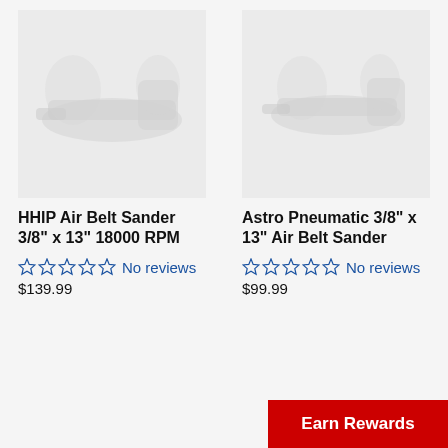[Figure (photo): Faint product image of HHIP Air Belt Sander on light gray background]
[Figure (photo): Faint product image of Astro Pneumatic Air Belt Sander on light gray background]
HHIP Air Belt Sander 3/8" x 13" 18000 RPM
Astro Pneumatic 3/8" x 13" Air Belt Sander
☆☆☆☆☆ No reviews
$139.99
☆☆☆☆☆ No reviews
$99.99
Earn Rewards